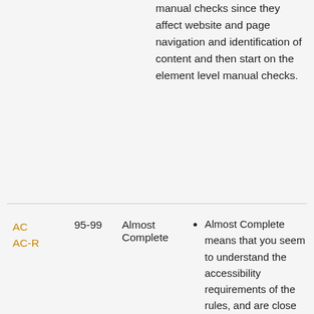manual checks since they affect website and page navigation and identification of content and then start on the element level manual checks.
| Code | Score | Label | Description |
| --- | --- | --- | --- |
| AC
AC-R | 95-99 | Almost Complete | Almost Complete means that you seem to understand the accessibility requirements of the rules, and are close to fully implementing their requirements on all pages within the website.
"-R" means there are required Manual Checks. Markup has been identified that needs to be reviewed |